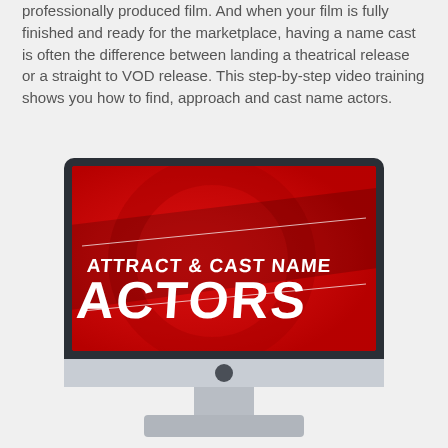professionally produced film. And when your film is fully finished and ready for the marketplace, having a name cast is often the difference between landing a theatrical release or a straight to VOD release. This step-by-step video training shows you how to find, approach and cast name actors.
[Figure (illustration): iMac-style computer monitor displaying a red promotional banner reading 'ATTRACT & CAST NAME ACTORS' in bold white text with decorative lines, set on a light grey stand.]